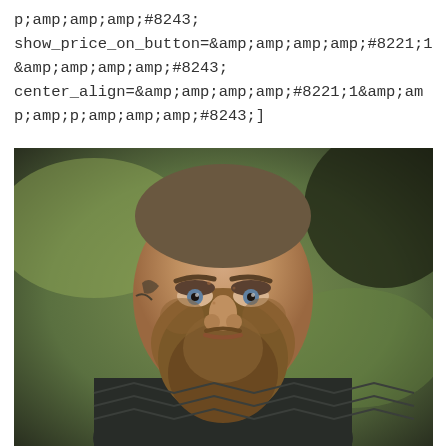p;amp;amp;amp;#8243; show_price_on_button=&amp;amp;amp;amp;amp;#8221;1 &amp;amp;amp;amp;amp;#8243; center_align=&amp;amp;amp;amp;amp;#8221;1&amp;amp;p;amp;amp;amp;#8243;]
[Figure (photo): Close-up portrait of a bearded man with short hair and facial tattoos, wearing dark armor, with a blurred green outdoor background. Appears to be a character from a Viking-themed production.]